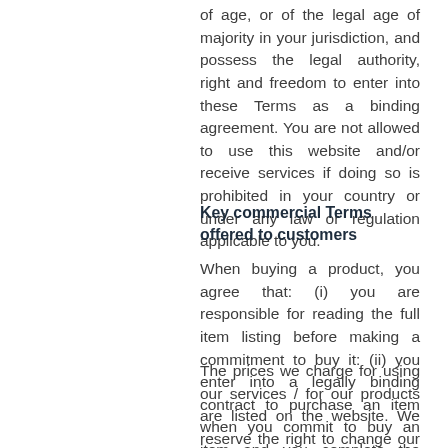of age, or of the legal age of majority in your jurisdiction, and possess the legal authority, right and freedom to enter into these Terms as a binding agreement. You are not allowed to use this website and/or receive services if doing so is prohibited in your country or under any law or regulation applicable to you.
Key commercial Terms offered to customers
When buying a product, you agree that: (i) you are responsible for reading the full item listing before making a commitment to buy it: (ii) you enter into a legally binding contract to purchase an item when you commit to buy an item and you complete the check-out payment process.
The prices we charge for using our services / for our products are listed on the website. We reserve the right to change our prices for products displayed at any time, and to correct pricing errors that may inadvertently occur. Additional information about pricing and sales tax is available on the...